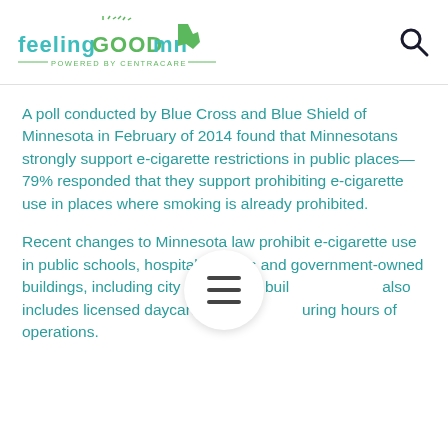FEELING GOOD MN — POWERED BY CENTRACARE —
A poll conducted by Blue Cross and Blue Shield of Minnesota in February of 2014 found that Minnesotans strongly support e-cigarette restrictions in public places—79% responded that they support prohibiting e-cigarette use in places where smoking is already prohibited.
Recent changes to Minnesota law prohibit e-cigarette use in public schools, hospitals, clinics and government-owned buildings, including city and county buildings. also includes licensed daycare facilities during hours of operations.